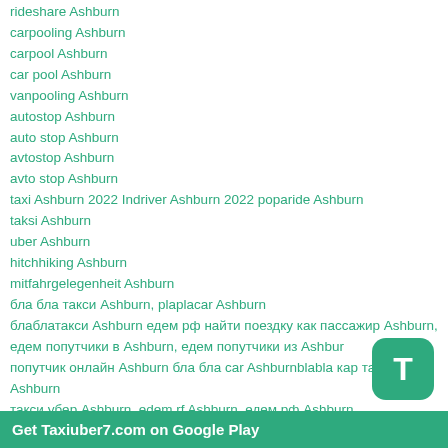rideshare Ashburn
carpooling Ashburn
carpool Ashburn
car pool Ashburn
vanpooling Ashburn
autostop Ashburn
auto stop Ashburn
avtostop Ashburn
avto stop Ashburn
taxi Ashburn 2022 Indriver Ashburn 2022 poparide Ashburn
taksi Ashburn
uber Ashburn
hitchhiking Ashburn
mitfahrgelegenheit Ashburn
бла бла такси Ashburn, plaplacar Ashburn
блаблатакси Ashburn едем рф найти поездку как пассажир Ashburn, едем попутчики в Ashburn, едем попутчики из Ashbur
попутчик онлайн Ashburn бла бла car Ashburnblabla кар такci Ashburn
такси убер Ashburn, edem.rf Ashburn, едем.рф Ashburn
Попутчики Ashburn Попутчики из Ashburn blablacar Ashburn to Blablabus Ashburn, Blablataxi Ashburn, Bla xi Ashburn,
BlabBlabar Ashburn, Blah blah car Ashburn, Blablacar bus Ashburn, Blablacar ola Ola Car Ashburn
Get Taxiuber7.com on Google Play